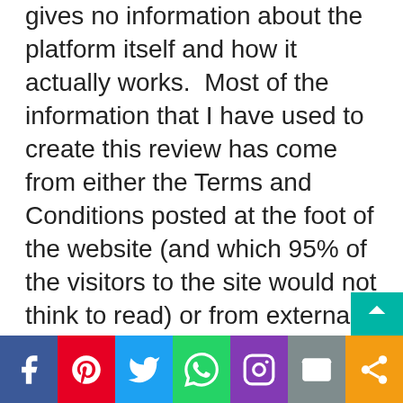gives no information about the platform itself and how it actually works.  Most of the information that I have used to create this review has come from either the Terms and Conditions posted at the foot of the website (and which 95% of the visitors to the site would not think to read) or from external sources.  A website that is soliciting very large sums of money needs to offer some kind of explanation as to how it works before they take your
[Figure (other): Social media share bar with icons for Facebook, Pinterest, Twitter, WhatsApp, Instagram, Email, and Share]